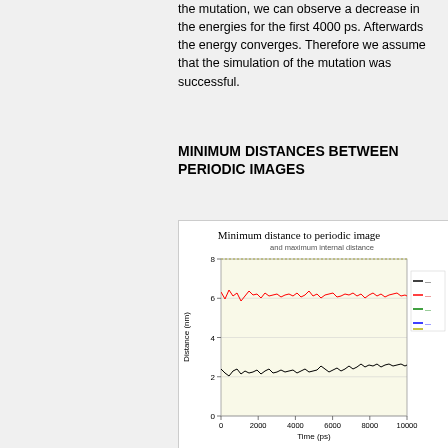the mutation, we can observe a decrease in the energies for the first 4000 ps. Afterwards the energy converges. Therefore we assume that the simulation of the mutation was successful.
MINIMUM DISTANCES BETWEEN PERIODIC IMAGES
[Figure (continuous-plot): Line chart showing minimum distance to periodic image and maximum internal distance over time (ps). Red line fluctuates around 6.2 nm; black line fluctuates around 2.5 nm. Y-axis: Distance (nm) 0-8. X-axis: Time (ps) 0-10000.]